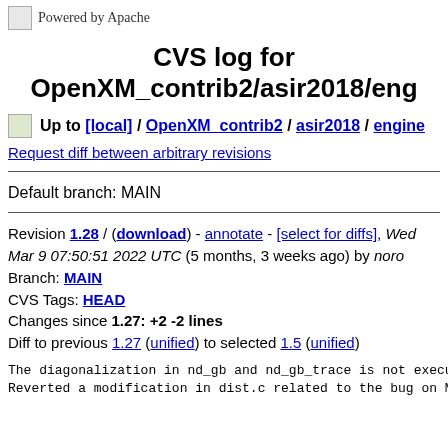Powered by Apache
CVS log for OpenXM_contrib2/asir2018/eng
Up to [local] / OpenXM_contrib2 / asir2018 / engine
Request diff between arbitrary revisions
Default branch: MAIN
Revision 1.28 / (download) - annotate - [select for diffs], Wed Mar 9 07:50:51 2022 UTC (5 months, 3 weeks ago) by noro
Branch: MAIN
CVS Tags: HEAD
Changes since 1.27: +2 -2 lines
Diff to previous 1.27 (unified) to selected 1.5 (unified)
The diagonalization in nd_gb and nd_gb_trace is not execu
Reverted a modification in dist.c related to the bug on M